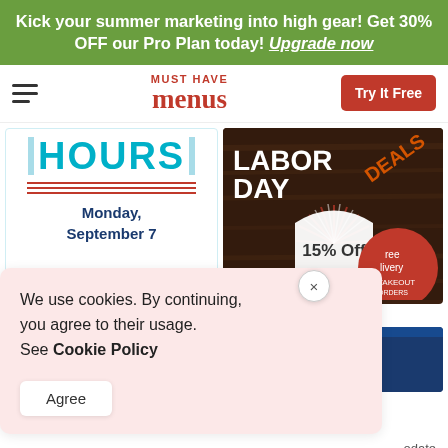Kick your summer marketing into high gear! Get 30% OFF our Pro Plan today! Upgrade now
[Figure (screenshot): Must Have Menus navigation bar with hamburger menu, red logo, and Try It Free button]
[Figure (screenshot): Hours card showing Monday, September 7 with teal decorative text]
[Figure (screenshot): Labor Day Deals card with 15% Off, free delivery, takeout orders on dark wood background]
We use cookies. By continuing, you agree to their usage. See Cookie Policy
odate
[Figure (screenshot): Bottom left blue card partially visible]
Monday, September 7